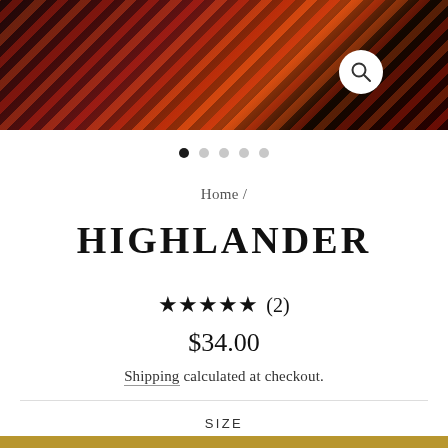[Figure (photo): Tartan/plaid knit textile in dark red, black, and orange colors, product image for Highlander]
Home /
HIGHLANDER
★★★★★ (2)
$34.00
Shipping calculated at checkout.
SIZE
Deluxe (8oz)
Regular (8oz)